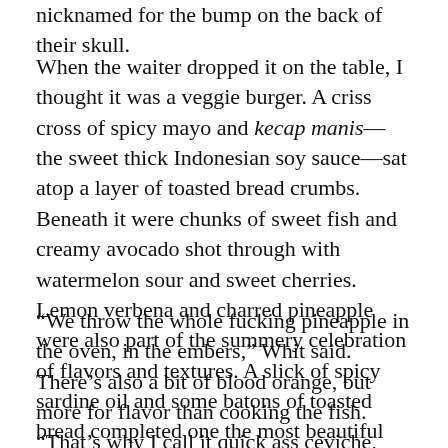nicknamed for the bump on the back of their skull.
When the waiter dropped it on the table, I thought it was a veggie burger. A criss cross of spicy mayo and kecap manis—the sweet thick Indonesian soy sauce—sat atop a layer of toasted bread crumbs. Beneath it were chunks of sweet fish and creamy avocado shot through with watermelon sour and sweet cherries. Lemon verbena and charred pineapple were also part of the summery celebration of flavors and textures. A slick of spicy sardine oil and some batons of toasted bread completed one the most beautiful and tasty plates I've ever enjoyed in Rockapulco.
“We throw the whole fucking pineapple in the oven, in the embers,” Whit said. There’s also a bit of blood orange, but more for flavor than cooking the fish. “That’s why I call it quick ass ceviche, there’s no marinating it, it’s basically crude, but in a different